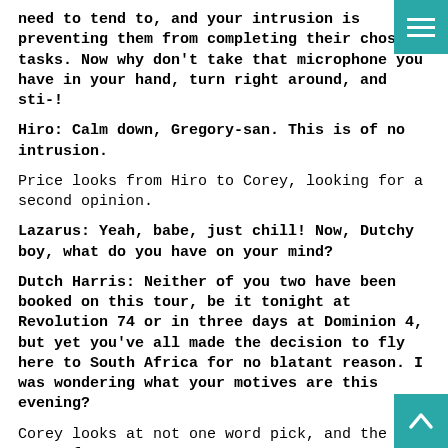need to tend to, and your intrusion is preventing them from completing their chosen tasks. Now why don't take that microphone you have in your hand, turn right around, and sti-!
Hiro: Calm down, Gregory-san. This is of no intrusion.
Price looks from Hiro to Corey, looking for a second opinion.
Lazarus: Yeah, babe, just chill! Now, Dutchy boy, what do you have on your mind?
Dutch Harris: Neither of you two have been booked on this tour, be it tonight at Revolution 74 or in three days at Dominion 4, but yet you've all made the decision to fly here to South Africa for no blatant reason. I was wondering what your motives are this evening?
Corey looks at not one word pick, and the rest of